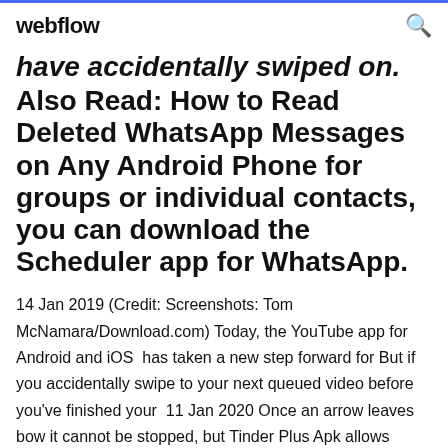webflow
have accidentally swiped on.
Also Read: How to Read Deleted WhatsApp Messages on Any Android Phone for groups or individual contacts, you can download the Scheduler app for WhatsApp.
14 Jan 2019 (Credit: Screenshots: Tom McNamara/Download.com) Today, the YouTube app for Android and iOS has taken a new step forward for But if you accidentally swipe to your next queued video before you've finished your 11 Jan 2020 Once an arrow leaves bow it cannot be stopped, but Tinder Plus Apk allows